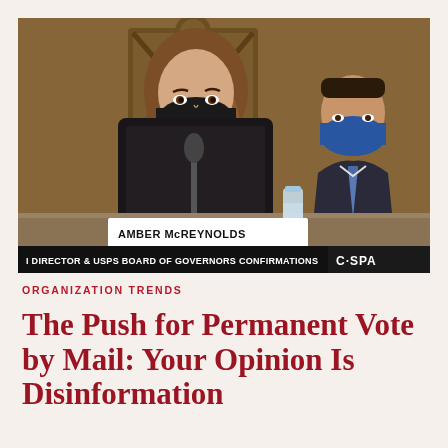[Figure (photo): A woman wearing a black face mask and black top seated at a hearing table with a nameplate reading 'AMBER McREYNOLDS'. A man in a suit with a blue face mask is visible in the background. C-SPAN chyron at the bottom reads 'DIRECTOR & USPS BOARD OF GOVERNORS CONFIRMATIONS'.]
ORGANIZATION TRENDS
The Push for Permanent Vote by Mail: Your Opinion Is Disinformation